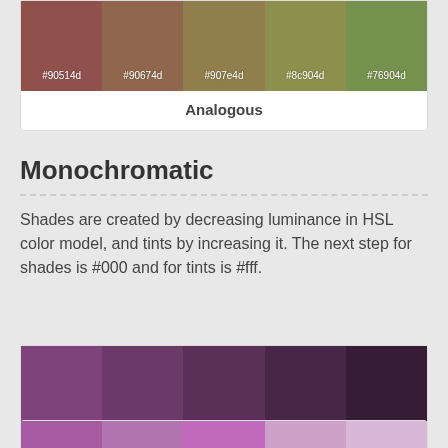[Figure (infographic): Analogous color palette card showing 5 color swatches: #90514d, #90674d, #907e4d, #8c904d, #76904d with label 'Analogous']
Monochromatic
Shades are created by decreasing luminance in HSL color model, and tints by increasing it. The next step for shades is #000 and for tints is #fff.
[Figure (infographic): Shades color palette showing 7 swatches in two rows: #7e437b, #6c3a69, #5a3058, #482746, #361d35 (row 1) and #241323, #120a12 (row 2), labeled 'Shades']
[Figure (infographic): Tints color palette (partially visible) showing swatches: #a75aa2, #b372b0, #c069bd, #cda1ca, #d9b8d7]